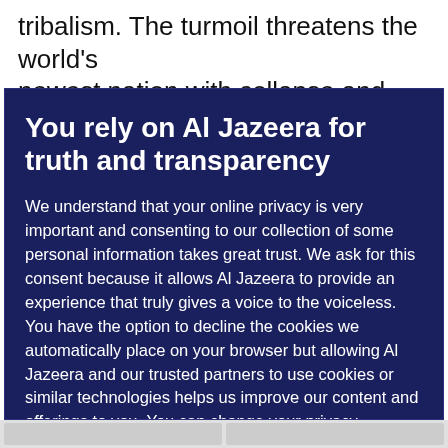tribalism. The turmoil threatens the world's newest nation with collapse and regional
You rely on Al Jazeera for truth and transparency
We understand that your online privacy is very important and consenting to our collection of some personal information takes great trust. We ask for this consent because it allows Al Jazeera to provide an experience that truly gives a voice to the voiceless.
You have the option to decline the cookies we automatically place on your browser but allowing Al Jazeera and our trusted partners to use cookies or similar technologies helps us improve our content and offerings to you. You can change your privacy preferences at any time by selecting ‘Cookie preferences’ at the bottom of your screen. To learn more, please view our Cookie Policy.